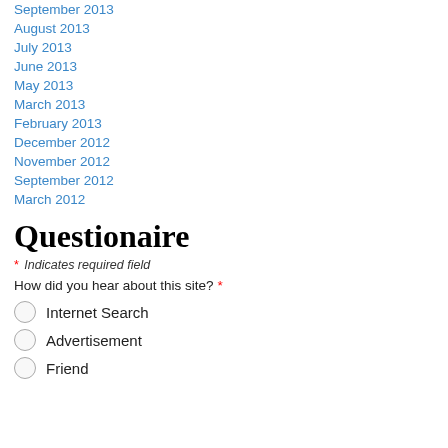September 2013
August 2013
July 2013
June 2013
May 2013
March 2013
February 2013
December 2012
November 2012
September 2012
March 2012
Questionaire
* Indicates required field
How did you hear about this site? *
Internet Search
Advertisement
Friend